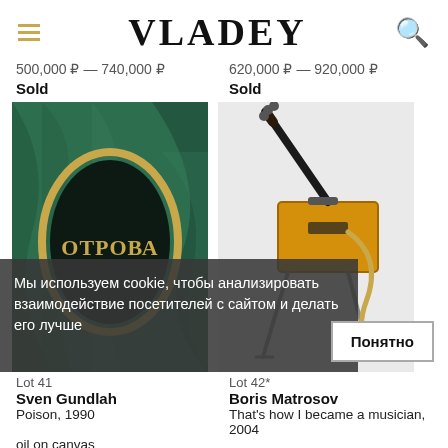VLADEY
500,000 ₽ — 740,000 ₽
620,000 ₽ — 920,000 ₽
Sold
Sold
[Figure (photo): Green marbled book cover with black oval and gold text ОТРОВА]
[Figure (photo): Yellow/orange rectangular guitar instrument on metal stand with strap]
Мы используем cookie, чтобы анализировать взаимодействие посетителей с сайтом и делать его лучше
Понятно
Lot 41
Lot 42*
Sven Gundlah
Boris Matrosov
Poison, 1990
That's how I became a musician, 2004
oil on canvas